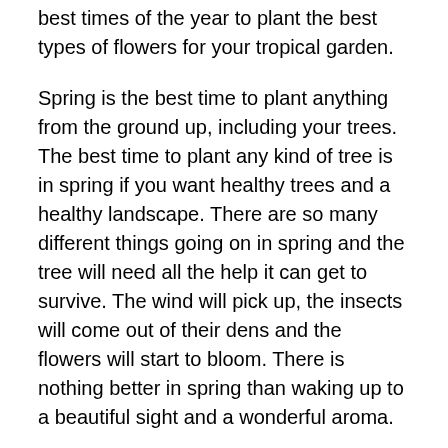best times of the year to plant the best types of flowers for your tropical garden.
Spring is the best time to plant anything from the ground up, including your trees. The best time to plant any kind of tree is in spring if you want healthy trees and a healthy landscape. There are so many different things going on in spring and the tree will need all the help it can get to survive. The wind will pick up, the insects will come out of their dens and the flowers will start to bloom. There is nothing better in spring than waking up to a beautiful sight and a wonderful aroma.
Summer is the best time to plant any kind of